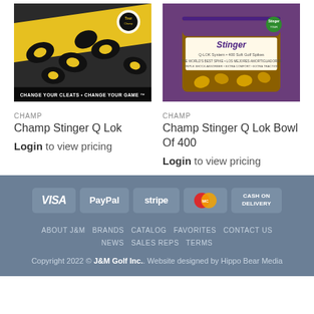[Figure (photo): Product image of Champ Stinger Q Lok golf cleats in black and yellow packaging with text 'CHANGE YOUR CLEATS • CHANGE YOUR GAME']
CHAMP
Champ Stinger Q Lok
Login to view pricing
[Figure (photo): Product image of Champ Stinger Q Lok Bowl Of 400 in purple/tan packaging with Stinger branding]
CHAMP
Champ Stinger Q Lok Bowl Of 400
Login to view pricing
[Figure (infographic): Payment method icons: VISA, PayPal, stripe, MasterCard, CASH ON DELIVERY]
ABOUT J&M | BRANDS | CATALOG | FAVORITES | CONTACT US | NEWS | SALES REPS | TERMS
Copyright 2022 © J&M Golf Inc.. Website designed by Hippo Bear Media